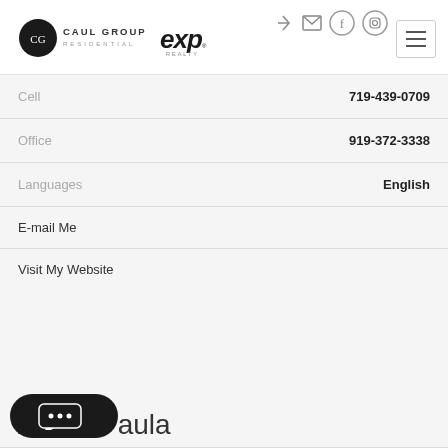[Figure (logo): Caul Group Residential and eXp Realty logos in website header]
Cell	719-439-0709
Office	919-372-3338
Languages	English
E-mail Me
Visit My Website
About Paula